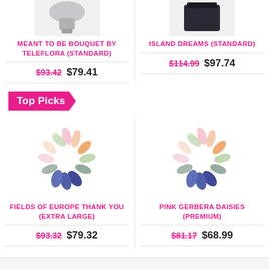[Figure (photo): Product image of Meant To Be Bouquet by Teleflora (top, cropped)]
[Figure (photo): Product image of Island Dreams (top, cropped)]
MEANT TO BE BOUQUET BY TELEFLORA (STANDARD)
ISLAND DREAMS (STANDARD)
$93.42  $79.41
$114.99  $97.74
Top Picks
[Figure (illustration): Loading spinner / colorful petal spinner animation placeholder for Fields of Europe Thank You product]
[Figure (illustration): Loading spinner / colorful petal spinner animation placeholder for Pink Gerbera Daisies product]
FIELDS OF EUROPE THANK YOU (EXTRA LARGE)
PINK GERBERA DAISIES (PREMIUM)
$93.32  $79.32
$81.17  $68.99